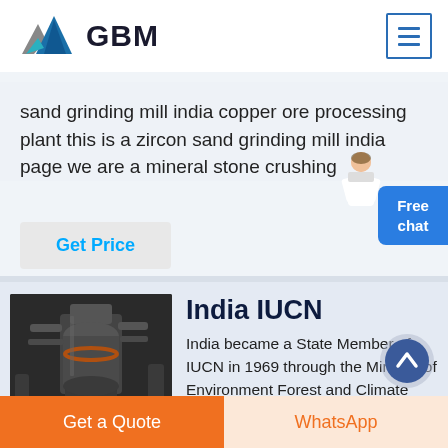[Figure (logo): GBM logo with mountain/arrow icon in blue and grey, bold text GBM]
sand grinding mill india copper ore processing plant this is a zircon sand grinding mill india page we are a mineral stone crushing
Get Price
India IUCN
[Figure (photo): Industrial machinery photo showing a large cone crusher or mill equipment in a factory setting]
India became a State Member of IUCN in 1969 through the Ministry of Environment Forest and Climate
Free chat
Get a Quote
WhatsApp